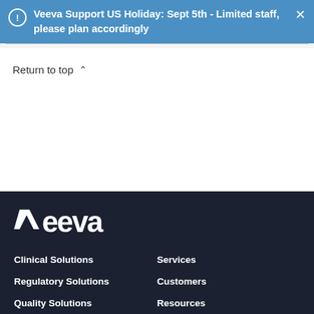Veeva Support US Holiday: Sept 5th - Limited staff, please plan accordingly
Return to top ∧
[Figure (logo): Veeva logo in white on dark background]
Clinical Solutions
Regulatory Solutions
Quality Solutions
Services
Customers
Resources